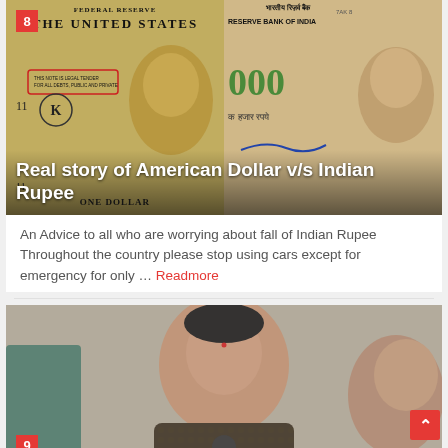[Figure (photo): Composite image of US Dollar bill on the left and Indian Rupee note on the right, with number badge '8' in orange-red and overlay title 'Real story of American Dollar v/s Indian Rupee']
An Advice to all who are worrying about fall of Indian Rupee Throughout the country please stop using cars except for emergency for only ... Readmore
[Figure (photo): Photo of IAS Officer Swetha Mohanty speaking at a microphone, with number badge '9' in orange-red and overlay title 'History & Biography of IAS Officer Swetha Mohanty']